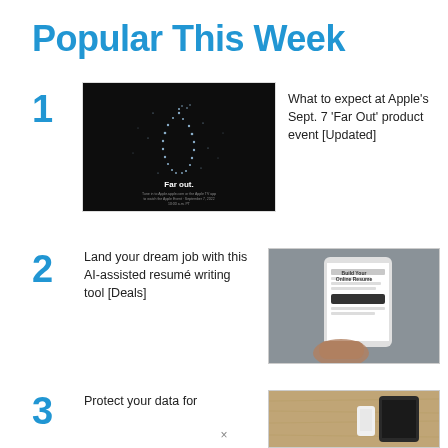Popular This Week
1  What to expect at Apple's Sept. 7 'Far Out' product event [Updated]
[Figure (photo): Dark Apple event invitation image showing Apple logo made of stars with text 'Far out.' and event details]
2  Land your dream job with this AI-assisted resumé writing tool [Deals]
[Figure (photo): Hand holding a smartphone showing a resume building website]
3  Protect your data for [cut off]
[Figure (photo): Partial image showing a device on a wooden surface]
×